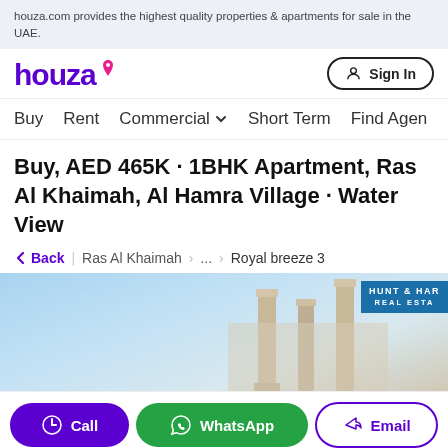houza.com provides the highest quality properties & apartments for sale in the UAE.
[Figure (logo): Houza logo with purple wordmark and pink location pin icon]
Sign In
Buy   Rent   Commercial   Short Term   Find Agent
Buy, AED 465K · 1BHK Apartment, Ras Al Khaimah, Al Hamra Village · Water View
← Back | Ras Al Khaimah > ... > Royal breeze 3
[Figure (photo): Property photo showing architectural columns and building exterior with blue sky, with HUNT & HAR REAL ESTA badge in top right corner]
Call   WhatsApp   Email